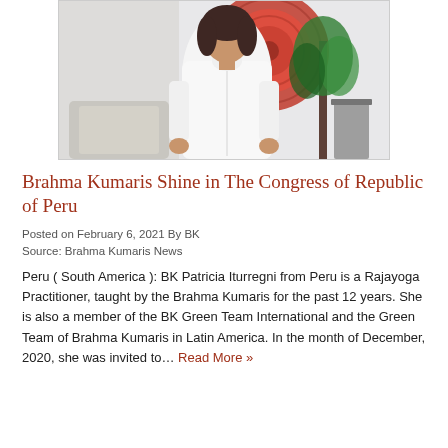[Figure (photo): A woman wearing a white jacket standing in front of a red circular artwork on the wall, with a plant visible to the right.]
Brahma Kumaris Shine in The Congress of Republic of Peru
Posted on February 6, 2021 By BK
Source: Brahma Kumaris News
Peru ( South America ): BK Patricia Iturregni from Peru is a Rajayoga Practitioner, taught by the Brahma Kumaris for the past 12 years. She is also a member of the BK Green Team International and the Green Team of Brahma Kumaris in Latin America. In the month of December, 2020, she was invited to… Read More »